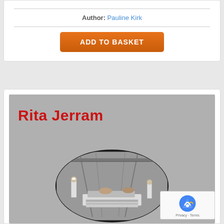Author: Pauline Kirk
ADD TO BASKET
[Figure (photo): Book cover for a book by Rita Jerram, showing large red bold text 'Rita Jerram' on a grey background, with an oval black-and-white historical photograph showing nurses and patients in what appears to be a hospital ward.]